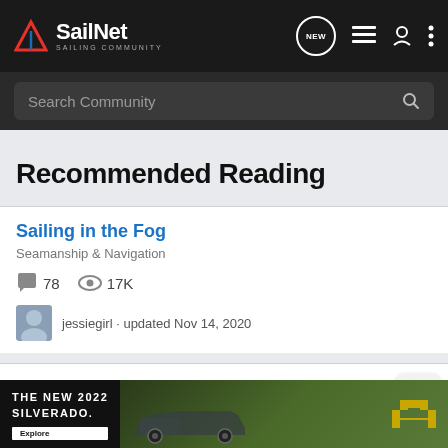SailNet - SAILING COMMUNITY
Search Community
Recommended Reading
Sailing in the Fog
Seamanship & Navigation
78  17K
jessiegirl · updated Nov 14, 2020
Sister ships night run-in with an oil rig in the gulf
General Discussion - Sailing Related
16
[Figure (screenshot): Chevrolet Silverado 2022 advertisement banner at the bottom of the page]